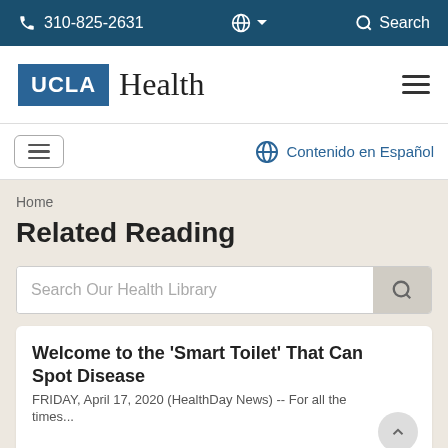310-825-2631   Search
[Figure (logo): UCLA Health logo with blue UCLA box and Health text in serif font, with hamburger menu icon on the right]
Contenido en Español
Home
Related Reading
Search Our Health Library
Welcome to the 'Smart Toilet' That Can Spot Disease
FRIDAY, April 17, 2020 (HealthDay News) -- For all the times...